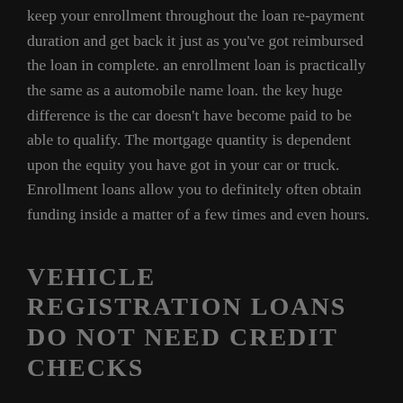keep your enrollment throughout the loan re-payment duration and get back it just as you've got reimbursed the loan in complete. an enrollment loan is practically the same as a automobile name loan. the key huge difference is the car doesn't have become paid to be able to qualify. The mortgage quantity is dependent upon the equity you have got in your car or truck. Enrollment loans allow you to definitely often obtain funding inside a matter of a few times and even hours.
VEHICLE REGISTRATION LOANS DO NOT NEED CREDIT CHECKS
You will be authorized for car enrollment loans no matter whether you've got good, bad, or nonexistent credit. We will only have a look at your credit score report so that you can validate the precision of one's